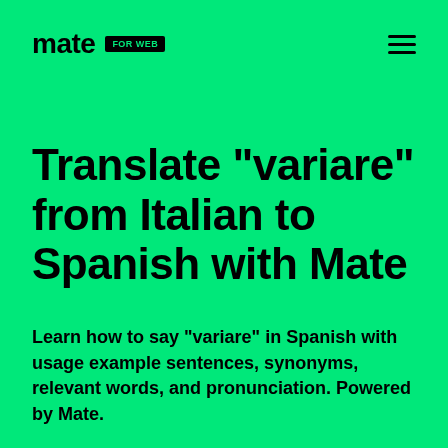mate FOR WEB
Translate "variare" from Italian to Spanish with Mate
Learn how to say "variare" in Spanish with usage example sentences, synonyms, relevant words, and pronunciation. Powered by Mate.